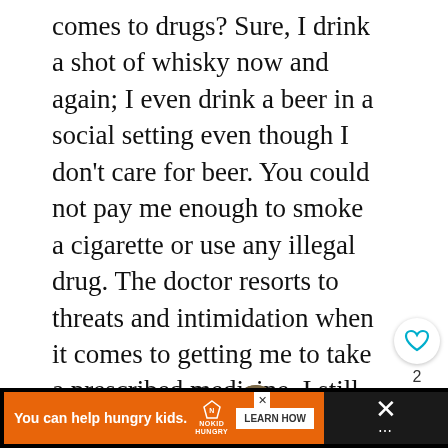comes to drugs? Sure, I drink a shot of whisky now and again; I even drink a beer in a social setting even though I don't care for beer. You could not pay me enough to smoke a cigarette or use any illegal drug. The doctor resorts to threats and intimidation when it comes to getting me to take a prescribed medicine. I still rarely finish my dosage. I don't like taking stuff that messes with my thinking. But I still drink! Oxymoron?
[Figure (other): Heart/like button with count of 2, and share button on right side]
[Figure (other): What's Next section with thumbnail image and text 'Camp Mustache IV...']
[Figure (other): Advertisement bar: orange ad saying 'You can help hungry kids.' with No Kid Hungry logo and LEARN HOW button, on black background with X close button]